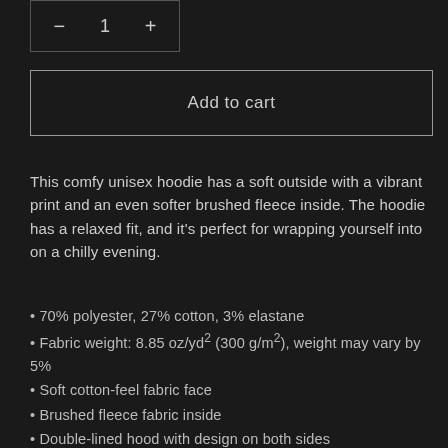[Figure (other): Quantity selector with minus button, 1, and plus button inside a bordered box]
Add to cart
This comfy unisex hoodie has a soft outside with a vibrant print and an even softer brushed fleece inside. The hoodie has a relaxed fit, and it's perfect for wrapping yourself into on a chilly evening.
70% polyester, 27% cotton, 3% elastane
Fabric weight: 8.85 oz/yd² (300 g/m²), weight may vary by 5%
Soft cotton-feel fabric face
Brushed fleece fabric inside
Double-lined hood with design on both sides
Unisex style